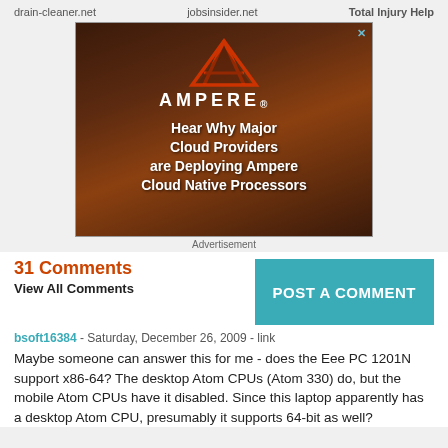drain-cleaner.net    jobsinsider.net    Total Injury Help
[Figure (other): Ampere advertisement with logo and text: Hear Why Major Cloud Providers are Deploying Ampere Cloud Native Processors]
Advertisement
31 Comments
View All Comments
POST A COMMENT
bsoft16384 - Saturday, December 26, 2009 - link
Maybe someone can answer this for me - does the Eee PC 1201N support x86-64? The desktop Atom CPUs (Atom 330) do, but the mobile Atom CPUs have it disabled. Since this laptop apparently has a desktop Atom CPU, presumably it supports 64-bit as well?